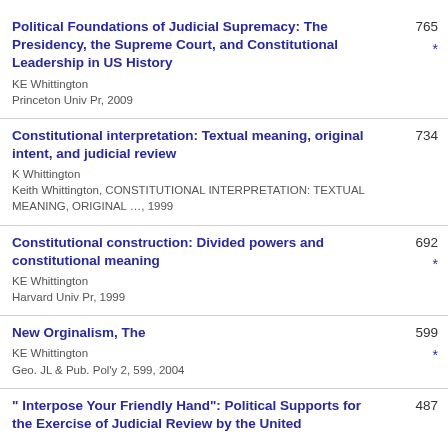Political Foundations of Judicial Supremacy: The Presidency, the Supreme Court, and Constitutional Leadership in US History | KE Whittington | Princeton Univ Pr, 2009 | 765 *
Constitutional interpretation: Textual meaning, original intent, and judicial review | K Whittington | Keith Whittington, CONSTITUTIONAL INTERPRETATION: TEXTUAL MEANING, ORIGINAL …, 1999 | 734
Constitutional construction: Divided powers and constitutional meaning | KE Whittington | Harvard Univ Pr, 1999 | 692 *
New Orginalism, The | KE Whittington | Geo. JL & Pub. Pol'y 2, 599, 2004 | 599 *
" Interpose Your Friendly Hand": Political Supports for the Exercise of Judicial Review by the United | 487